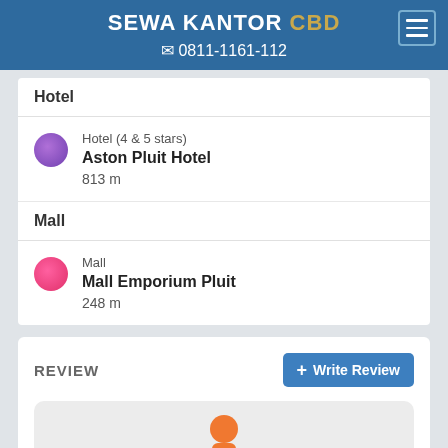SEWA KANTOR CBD | 0811-1161-112
Hotel
Hotel (4 & 5 stars)
Aston Pluit Hotel
813 m
Mall
Mall
Mall Emporium Pluit
248 m
REVIEW
+ Write Review